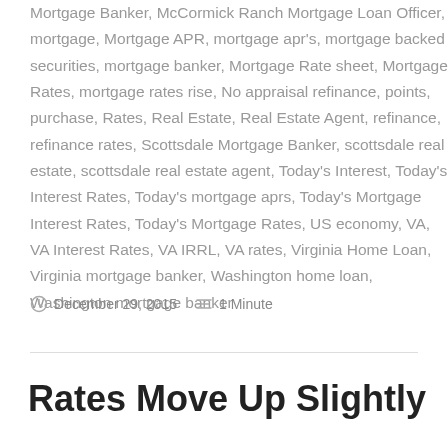Mortgage Banker, McCormick Ranch Mortgage Loan Officer, mortgage, Mortgage APR, mortgage apr's, mortgage backed securities, mortgage banker, Mortgage Rate sheet, Mortgage Rates, mortgage rates rise, No appraisal refinance, points, purchase, Rates, Real Estate, Real Estate Agent, refinance, refinance rates, Scottsdale Mortgage Banker, scottsdale real estate, scottsdale real estate agent, Today's Interest, Today's Interest Rates, Today's mortgage aprs, Today's Mortgage Interest Rates, Today's Mortgage Rates, US economy, VA, VA Interest Rates, VA IRRL, VA rates, Virginia Home Loan, Virginia mortgage banker, Washington home loan, Washington mortgage banker
December 29, 2015   1 Minute
Rates Move Up Slightly